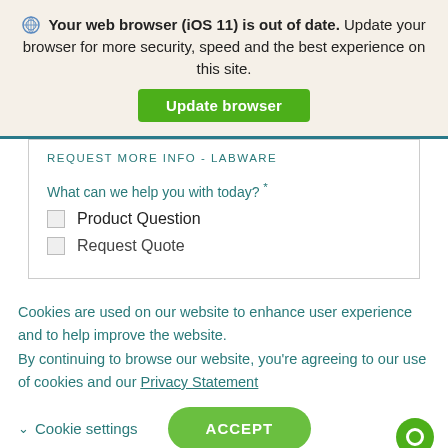Your web browser (iOS 11) is out of date. Update your browser for more security, speed and the best experience on this site.
Update browser
REQUEST MORE INFO - LABWARE
What can we help you with today? *
Product Question
Request Quote
Cookies are used on our website to enhance user experience and to help improve the website.
By continuing to browse our website, you're agreeing to our use of cookies and our Privacy Statement
Cookie settings   ACCEPT